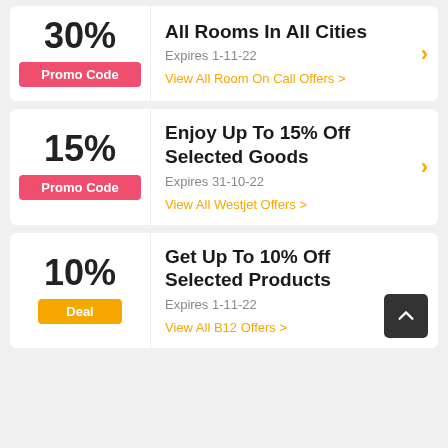30%
Promo Code
All Rooms In All Cities
Expires 1-11-22
View All Room On Call Offers >
15%
Promo Code
Enjoy Up To 15% Off Selected Goods
Expires 31-10-22
View All Westjet Offers >
10%
Deal
Get Up To 10% Off Selected Products
Expires 1-11-22
View All B12 Offers >